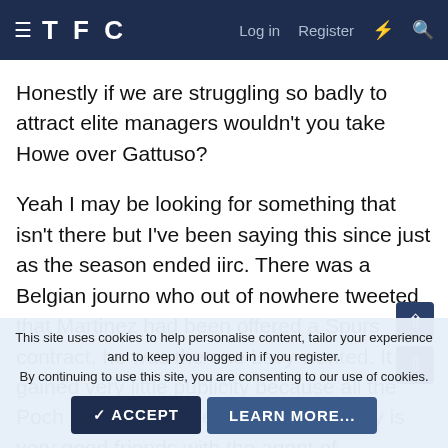TFC  Log in  Register
Honestly if we are struggling so badly to attract elite managers wouldn't you take Howe over Gattuso?
Yeah I may be looking for something that isn't there but I've been saying this since just as the season ended iirc. There was a Belgian journo who out of nowhere tweeted that Martinez had been offered a Spurs contract, he was the one Levy wanted. It gained very little publicity because all the Poch and then Conte talk started.. Levy is very good friends with the agent of
This site uses cookies to help personalise content, tailor your experience and to keep you logged in if you register.
By continuing to use this site, you are consenting to our use of cookies.
ACCEPT  LEARN MORE...